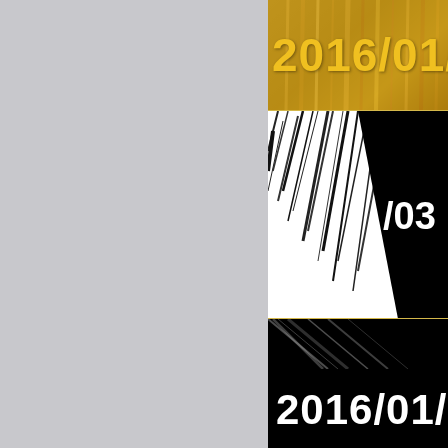[Figure (photo): A series of horizontal strips showing date stamps '2016/01/03 0...' in various visual treatments: gold/yellow text on golden background with object overlay, black-and-white scratched/distorted version, white text on black background (multiple rows). Left side shows a gray panel. The image appears to be a contact sheet or comparison of different rendering styles of the same date timestamp.]